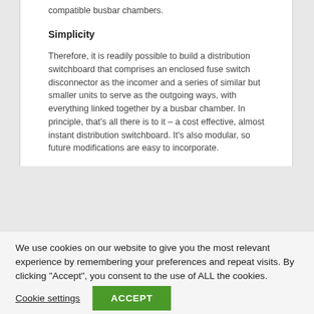compatible busbar chambers.
Simplicity
Therefore, it is readily possible to build a distribution switchboard that comprises an enclosed fuse switch disconnector as the incomer and a series of similar but smaller units to serve as the outgoing ways, with everything linked together by a busbar chamber. In principle, that's all there is to it – a cost effective, almost instant distribution switchboard. It's also modular, so future modifications are easy to incorporate.
We use cookies on our website to give you the most relevant experience by remembering your preferences and repeat visits. By clicking “Accept”, you consent to the use of ALL the cookies.
Cookie settings
ACCEPT